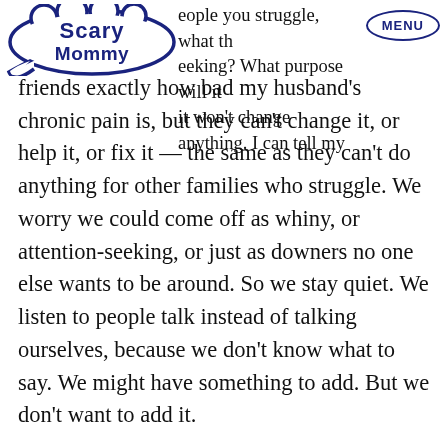Scary Mommy | MENU
And if people you struggle, what they're seeking? What purpose will it — it won't change anything. I can tell my friends exactly how bad my husband's chronic pain is, but they can't change it, or help it, or fix it — the same as they can't do anything for other families who struggle. We worry we could come off as whiny, or attention-seeking, or just as downers no one else wants to be around. So we stay quiet. We listen to people talk instead of talking ourselves, because we don't know what to say. We might have something to add. But we don't want to add it.